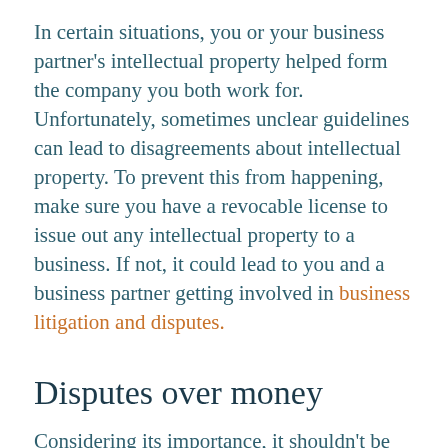In certain situations, you or your business partner's intellectual property helped form the company you both work for. Unfortunately, sometimes unclear guidelines can lead to disagreements about intellectual property. To prevent this from happening, make sure you have a revocable license to issue out any intellectual property to a business. If not, it could lead to you and a business partner getting involved in business litigation and disputes.
Disputes over money
Considering its importance, it shouldn't be